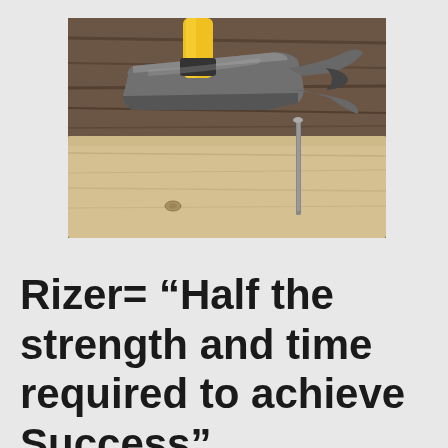[Figure (photo): Close-up photograph of a claw hammer with yellow handle hovering over a nail partially hammered into a light-colored wooden plank, with dark wood grain visible in the background.]
Rizer= “Half the strength and time required to achieve Success”